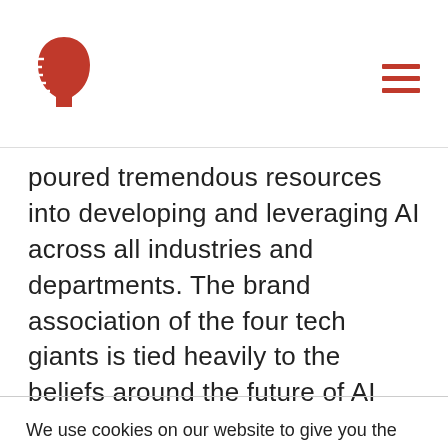[Logo: red AI/brain icon] [Hamburger menu icon]
poured tremendous resources into developing and leveraging AI across all industries and departments. The brand association of the four tech giants is tied heavily to the beliefs around the future of AI technology.
We use cookies on our website to give you the most relevant experience by remembering your preferences and repeat visits. By clicking “Accept”, you consent to the use of ALL the cookies. Do not sell my personal information.
Cookie settings   ACCEPT